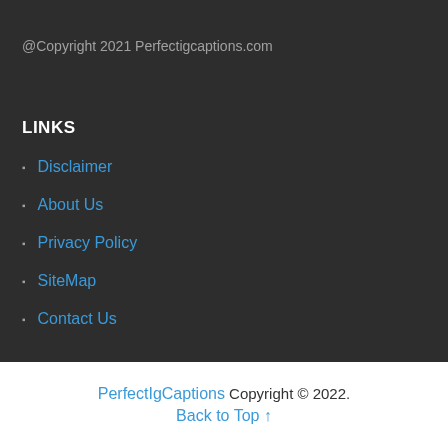@Copyright 2021 Perfectigcaptions.com
LINKS
Disclaimer
About Us
Privacy Policy
SiteMap
Contact Us
PerfectIgCaptions Copyright © 2022. Back to Top ↑